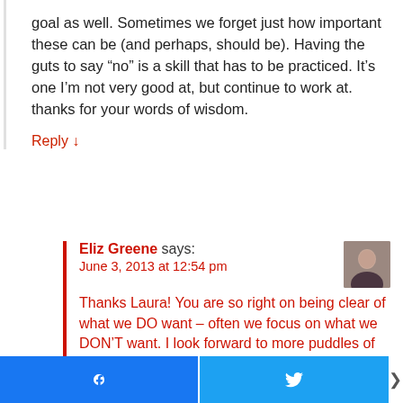goal as well. Sometimes we forget just how important these can be (and perhaps, should be). Having the guts to say “no” is a skill that has to be practiced. It’s one I’m not very good at, but continue to work at.
thanks for your words of wisdom.
Reply ↓
Eliz Greene says:
June 3, 2013 at 12:54 pm
Thanks Laura! You are so right on being clear of what we DO want – often we focus on what we DON’T want. I look forward to more puddles of sunshine!!!